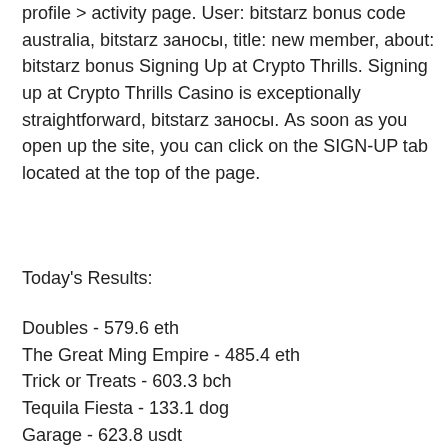profile &gt; activity page. User: bitstarz bonus code australia, bitstarz заносы, title: new member, about: bitstarz bonus Signing Up at Crypto Thrills. Signing up at Crypto Thrills Casino is exceptionally straightforward, bitstarz заносы. As soon as you open up the site, you can click on the SIGN-UP tab located at the top of the page.
Today's Results:
Doubles - 579.6 eth
The Great Ming Empire - 485.4 eth
Trick or Treats - 603.3 bch
Tequila Fiesta - 133.1 dog
Garage - 623.8 usdt
Gods of Giza - 671.6 dog
Diggin' Deep - 722 dog
Crystal Queen - 484.5 btc
Ragin Buffalo - 356.4 dog
Moon Temple - 745.6 bch
Sakura Fortune - 374.2 usdt